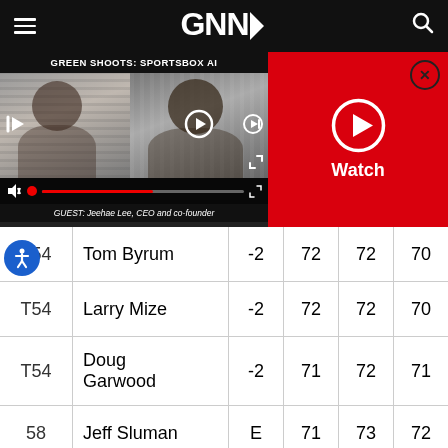GNN
[Figure (screenshot): Video player showing Green Shoots: Sportsbox AI interview with two thumbnails — a woman on the left and a man on the right, with playback controls at the bottom. Caption reads: GUEST: Jeehae Lee, CEO and co-founder]
[Figure (screenshot): Red Watch panel with circular play button icon and X close button]
| Pos | Player | Score | R1 | R2 | R3 |
| --- | --- | --- | --- | --- | --- |
| T54 | Tom Byrum | -2 | 72 | 72 | 70 |
| T54 | Larry Mize | -2 | 72 | 72 | 70 |
| T54 | Doug Garwood | -2 | 71 | 72 | 71 |
| 58 | Jeff Sluman | E | 71 | 73 | 72 |
| T59 | Brad Faxon | 1 | 70 | 75 | 72 |